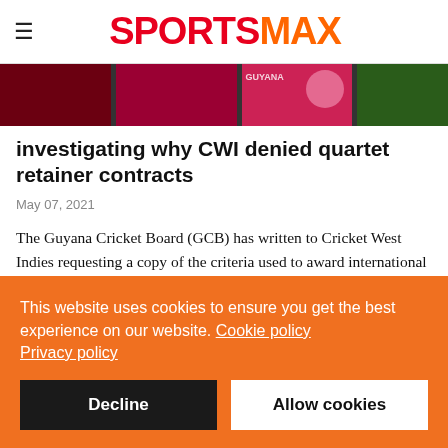SPORTSMAX
[Figure (photo): Partial cricket-related image showing jerseys and team logos]
investigating why CWI denied quartet retainer contracts
May 07, 2021
The Guyana Cricket Board (GCB) has written to Cricket West Indies requesting a copy of the criteria used to award international retainer contracts and the report submitted by the selection panel on which the decision was made not to award
This website uses cookies to ensure you get the best experience on our website. Cookie policy Privacy policy